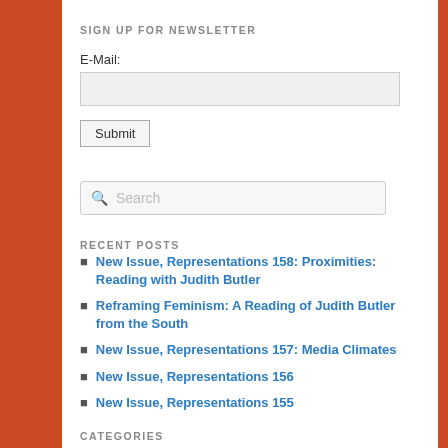SIGN UP FOR NEWSLETTER
E-Mail:
Submit
Search
RECENT POSTS
New Issue, Representations 158: Proximities: Reading with Judith Butler
Reframing Feminism: A Reading of Judith Butler from the South
New Issue, Representations 157: Media Climates
New Issue, Representations 156
New Issue, Representations 155
CATEGORIES